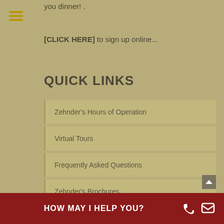you dinner! .
[CLICK HERE] to sign up online...
QUICK LINKS
Zehnder's Hours of Operation
Virtual Tours
Frequently Asked Questions
Zehnder's Brochures
Promotions and Discounts
Join Our Team
Donations
Get Directions
HOW MAY I HELP YOU?